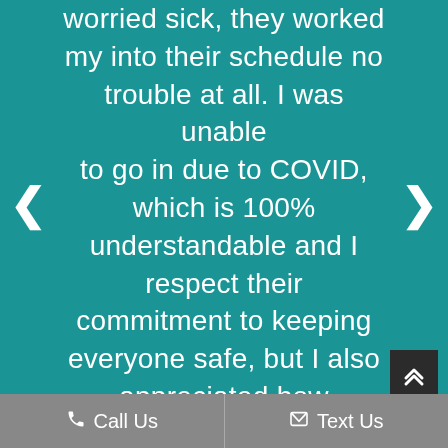worried sick, they worked my into their schedule no trouble at all. I was unable to go in due to COVID, which is 100% understandable and I respect their commitment to keeping everyone safe, but I also appreciated how comfortable and kind everyone was so I did not
Call Us   Text Us